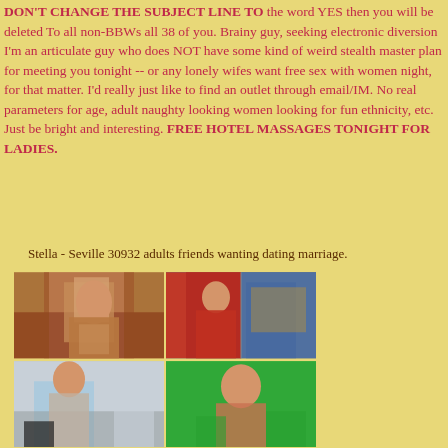DON'T CHANGE THE SUBJECT LINE TO the word YES then you will be deleted To all non-BBWs all 38 of you. Brainy guy, seeking electronic diversion I'm an articulate guy who does NOT have some kind of weird stealth master plan for meeting you tonight -- or any lonely wifes want free sex with women night, for that matter. I'd really just like to find an outlet through email/IM. No real parameters for age, adult naughty looking women looking for fun ethnicity, etc. Just be bright and interesting. FREE HOTEL MASSAGES TONIGHT FOR LADIES.
Stella - Seville 30932 adults friends wanting dating marriage.
[Figure (photo): A 2x2 grid of photos showing women in various poses and outfits.]